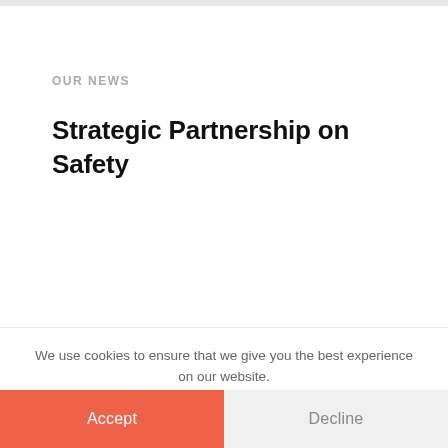OUR NEWS
Strategic Partnership on Safety
We use cookies to ensure that we give you the best experience on our website.
Accept
Decline